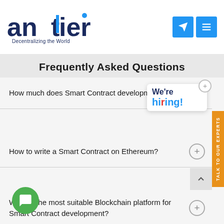antier — Decentralizing the World
Frequently Asked Questions
How much does Smart Contract development cost?
[Figure (infographic): We're hiring! badge with blue and navy text and a plus icon]
How to write a Smart Contract on Ethereum?
What is the most suitable Blockchain platform for Smart Contract development?